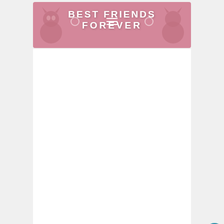[Figure (screenshot): Website header banner for 'Best Friends Forever' pet website with cat silhouettes, pink/mauve background, hamburger menu icon, and white bold text reading BEST FRIENDS FOREVER]
[Figure (screenshot): White content area (blank article body), with heart/favorite button (teal circle) and share button (white circle with share icon) on the right side]
[Figure (screenshot): What's Next card showing a thumbnail of a chicken-related article with text 'How Do I Keep my Chicken...' and a downward arrow]
You May Also Enjoy:
[Figure (screenshot): Bottom strip showing a food photo (yellow/golden coloring), overlaid with a green Vitafusion advertisement banner reading 'vitafusion Find your tasty routine.' with search and close icons]
[Figure (advertisement): Vitafusion ad: green background, 'vitafusion Find your tasty routine.' in white text with arrow]